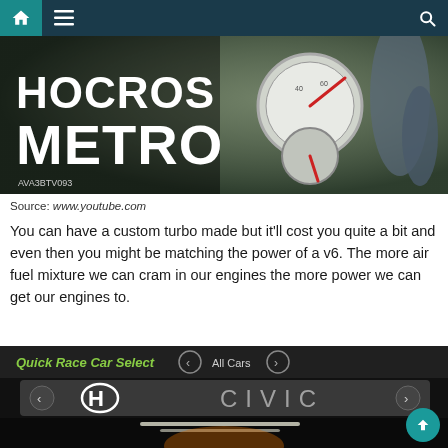[Figure (screenshot): Website navigation bar with home icon, hamburger menu, and search icon on dark teal/navy background]
[Figure (photo): Motorcycle speedometer/dashboard with red needle gauges, overlaid with bold text reading 'HOCROS METRO']
Source: www.youtube.com
You can have a custom turbo made but it'll cost you quite a bit and even then you might be matching the power of a v6. The more air fuel mixture we can cram in our engines the more power we can get our engines to.
[Figure (screenshot): Video game Quick Race Car Select screen showing Honda Civic logo and car selection interface]